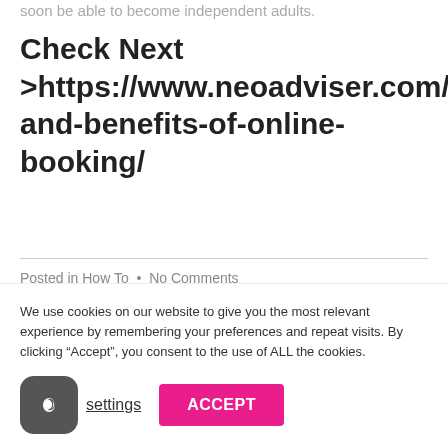soon be able to become independent adults.
Check Next >https://www.neoadviser.com/risks-and-benefits-of-online-booking/
Posted in How To  •  No Comments
We use cookies on our website to give you the most relevant experience by remembering your preferences and repeat visits. By clicking “Accept”, you consent to the use of ALL the cookies.
settings
ACCEPT